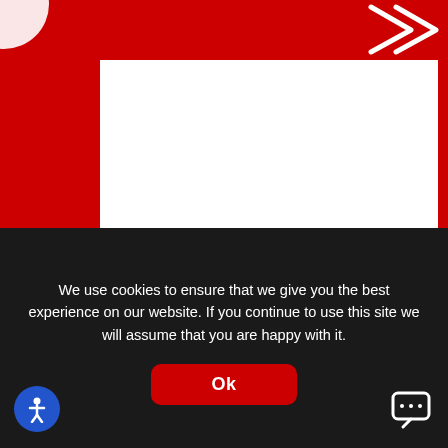[Figure (screenshot): Website screenshot showing Royal Surrey County Hospital Charity news article page with red background]
17th May 2019
Royal Surrey County Hospital Charity launches £500,000 campaign to redevelop hospital's Special Care Baby Unit The innovative project will allow parents with premature or sick babies
We use cookies to ensure that we give you the best experience on our website. If you continue to use this site we will assume that you are happy with it.